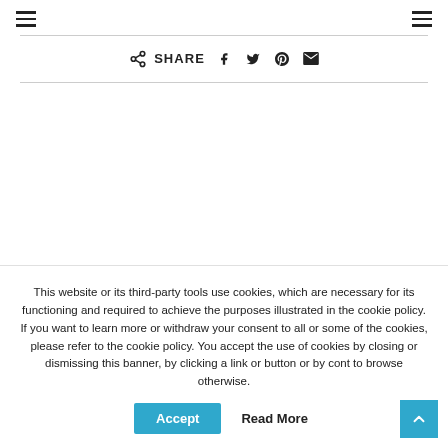≡   ≡
SHARE
This website or its third-party tools use cookies, which are necessary for its functioning and required to achieve the purposes illustrated in the cookie policy. If you want to learn more or withdraw your consent to all or some of the cookies, please refer to the cookie policy. You accept the use of cookies by closing or dismissing this banner, by clicking a link or button or by cont to browse otherwise.
Accept   Read More